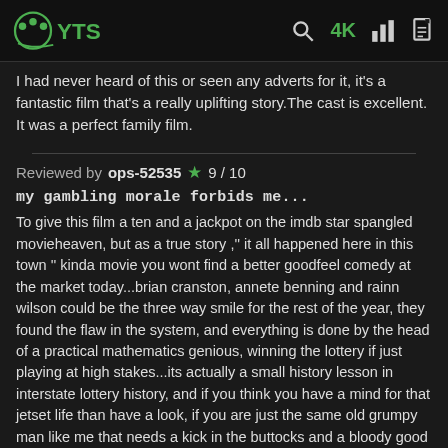[Figure (logo): YTS logo — green circular icon with dots and 'YTS' text in green on dark background]
I had never heard of this or seen any adverts for it, it's a fantastic film that's a really uplifting story.The cast is excellent. It was a perfect family film.
Reviewed by ops-52535 ★ 9 / 10
my gambling morale forbids me...
To give this film a ten and a jackpot on the imdb star spangled movieheaven, but as a true story ," it all happened here in this town " kinda movie you wont find a better goodfeel comedy at the market today...brian cranston, annete benning and rainn wilson could be the three way smile for the rest of the year, they found the flaw in the system, and everything is done by the head of a practical mathematics genious, winning the lottery if just playing at high stakes...its actually a small history lesson in interstate lottery history, and if you think you have a mind for that jetset life than have a look, if you are just the same old grumpy man like me that needs a kick in the buttocks and a bloody good movie to